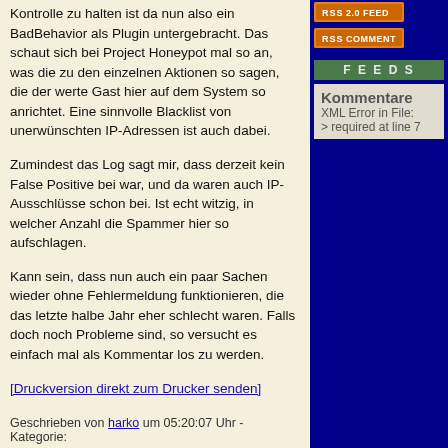Kontrolle zu halten ist da nun also ein BadBehavior als Plugin untergebracht. Das schaut sich bei Project Honeypot mal so an, was die zu den einzelnen Aktionen so sagen, die der werte Gast hier auf dem System so anrichtet. Eine sinnvolle Blacklist von unerwünschten IP-Adressen ist auch dabei.
Zumindest das Log sagt mir, dass derzeit kein False Positive bei war, und da waren auch IP-Ausschlüsse schon bei. Ist echt witzig, in welcher Anzahl die Spammer hier so aufschlagen.
Kann sein, dass nun auch ein paar Sachen wieder ohne Fehlermeldung funktionieren, die das letzte halbe Jahr eher schlecht waren. Falls doch noch Probleme sind, so versucht es einfach mal als Kommentar los zu werden.
[Druckversion direkt zum Drucker senden]
Geschrieben von harko um 05:20:07 Uhr - Kategorie: Indifferentes , Technik
Karma: 20 [+/-]
Trackback